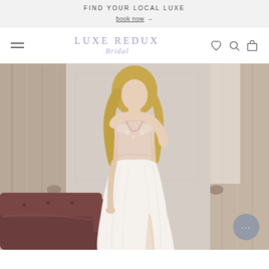FIND YOUR LOCAL LUXE
book now →
[Figure (logo): Luxe Redux Bridal logo with navigation icons (hamburger menu, heart, search, bag)]
[Figure (photo): A blonde woman wearing a white lace deep-V wedding gown with flowy skirt, standing in an elegant room with tall curtains and a dark velvet sofa. A chat button overlay appears at bottom right.]